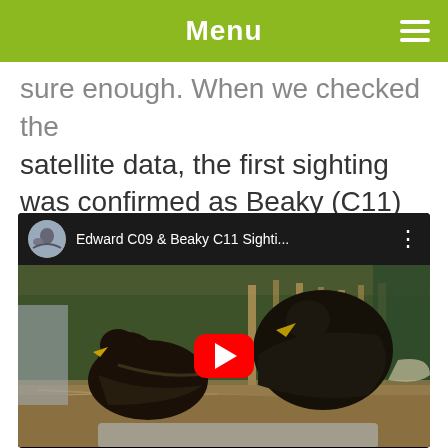Menu
sure enough. When we checked the satellite data, the first sighting was confirmed as Beaky (C11) and the second was potentially Edward (C09).
[Figure (screenshot): YouTube video thumbnail showing two large black birds (likely white-tailed eagles) in an enclosure with straw, captioned 'Edward C09 & Beaky C11 Sighti...' with a red YouTube play button overlay]